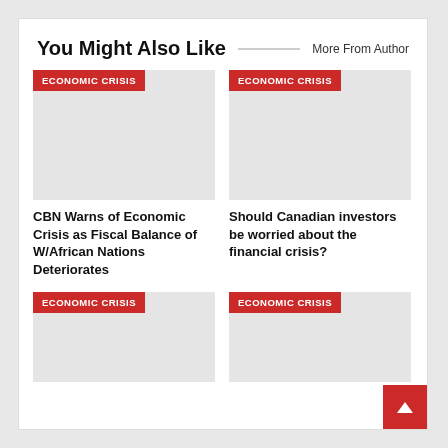You Might Also Like
More From Author
[Figure (other): Article thumbnail placeholder with ECONOMIC CRISIS badge]
[Figure (other): Article thumbnail placeholder with ECONOMIC CRISIS badge]
CBN Warns of Economic Crisis as Fiscal Balance of W/African Nations Deteriorates
Should Canadian investors be worried about the financial crisis?
[Figure (other): Article thumbnail placeholder with ECONOMIC CRISIS badge]
[Figure (other): Article thumbnail placeholder with ECONOMIC CRISIS badge]